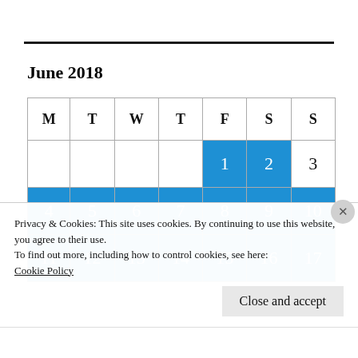June 2018
| M | T | W | T | F | S | S |
| --- | --- | --- | --- | --- | --- | --- |
|  |  |  |  | 1 | 2 | 3 |
| 4 | 5 | 6 | 7 | 8 | 9 | 10 |
| 11 | 12 | 13 | 14 | 15 | 16 | 17 |
Privacy & Cookies: This site uses cookies. By continuing to use this website, you agree to their use.
To find out more, including how to control cookies, see here:
Cookie Policy
Close and accept